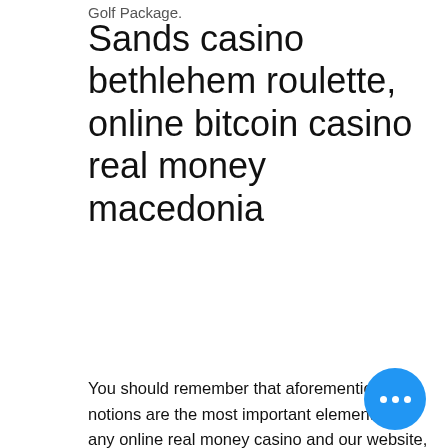Golf Package.
Sands casino bethlehem roulette, online bitcoin casino real money macedonia
You should remember that aforementioned notions are the most important elements of any online real money casino and our website, in particular. If you're becoming curious about how to choose the online casino to play for real money according to those criteria, we can just recommend reviewing any platform step-by-step. For instance, you can choose either Planet 7, Red Stag, or Slots Capital, and further review one of the online casinos in accordance with the mentioned param… quickspin casino australia. If you want… show you the way how to do it, just stay